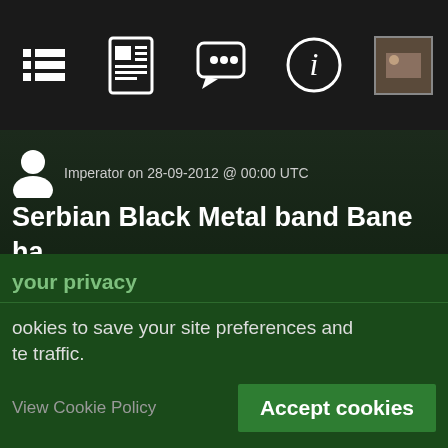[Figure (screenshot): Mobile website navigation bar with icons: list/menu icon, newspaper icon, chat/comment icon, info icon, and a thumbnail image]
Imperator on 28-09-2012 @ 00:00 UTC
Serbian Black Metal band Bane ha released their second full length albu "The Acausal Fire".
your privacy
ookies to save your site preferences and te traffic.
View Cookie Policy
Accept cookies